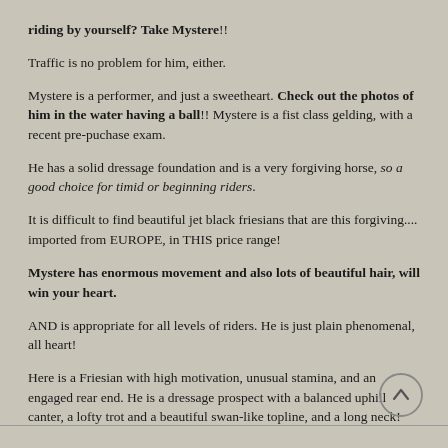riding by yourself? Take Mystere!! Traffic is no problem for him, either. Mystere is a performer, and just a sweetheart. Check out the photos of him in the water having a ball!! Mystere is a fist class gelding, with a recent pre-puchase exam. He has a solid dressage foundation and is a very forgiving horse, so a good choice for timid or beginning riders. It is difficult to find beautiful jet black friesians that are this forgiving.... imported from EUROPE, in THIS price range! Mystere has enormous movement and also lots of beautiful hair, will win your heart. AND is appropriate for all levels of riders. He is just plain phenomenal, all heart! Here is a Friesian with high motivation, unusual stamina, and an engaged rear end. He is a dressage prospect with a balanced uphill canter, a lofty trot and a beautiful swan-like topline, and a long neck! Mystere JUST ARRIVED FROM EUROPE!!!! What a GREAT horse:)